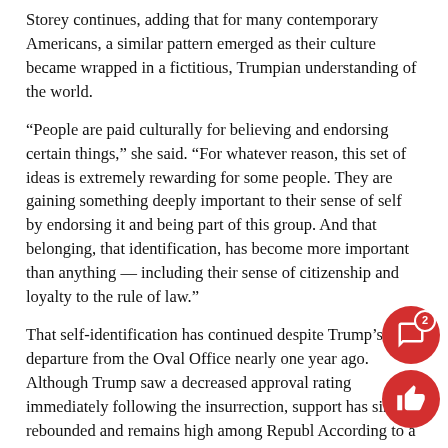Storey continues, adding that for many contemporary Americans, a similar pattern emerged as their culture became wrapped in a fictitious, Trumpian understanding of the world.
“People are paid culturally for believing and endorsing certain things,” she said. “For whatever reason, this set of ideas is extremely rewarding for some people. They are gaining something deeply important to their sense of self by endorsing it and being part of this group. And that belonging, that identification, has become more important than anything — including their sense of citizenship and loyalty to the rule of law.”
That self-identification has continued despite Trump’s departure from the Oval Office nearly one year ago. Although Trump saw a decreased approval rating immediately following the insurrection, support has since rebounded and remains high among Republicans. According to a Pew Research survey released Oct. 6, two-thirds of Republicans and Republican-leaning independents want Trump to remain a national political figure. And according to a Sept. 12 poll of percents of Republicans and Republican-leaning...